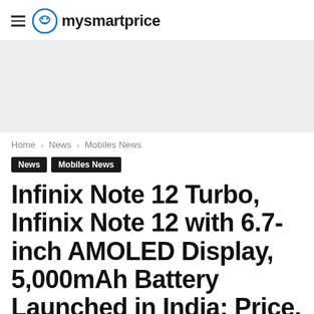mysmartprice
[Figure (other): Gray advertisement banner placeholder]
Home › News › Mobiles News
News  Mobiles News
Infinix Note 12 Turbo, Infinix Note 12 with 6.7-inch AMOLED Display, 5,000mAh Battery Launched in India: Price, Specifications
Both the phones are priced under Rs 15,000.